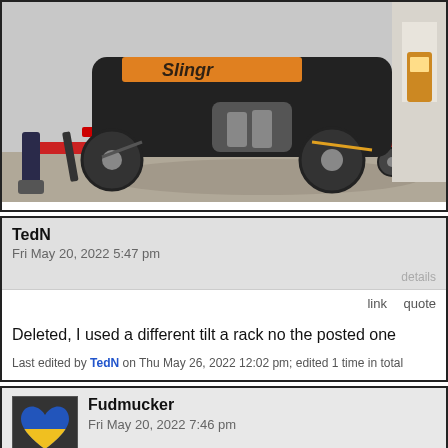[Figure (photo): A motorcycle on a trailer/rack with red accents, visible at a gas station or parking lot. The motorcycle has an orange/yellow 'Slingr' style label and the trailer has red reflective tape.]
TedN
Fri May 20, 2022 5:47 pm
details
link
quote
Deleted, I used a different tilt a rack no the posted one
Last edited by TedN on Thu May 26, 2022 12:02 pm; edited 1 time in total
[Figure (illustration): Avatar icon showing a blue and yellow heart shape (Ukraine flag colors)]
Fudmucker
Fri May 20, 2022 7:46 pm